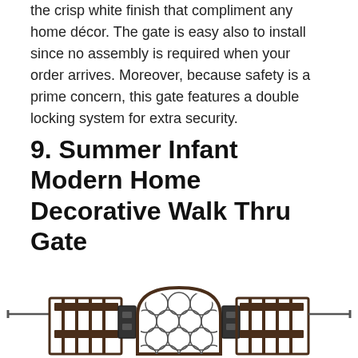the crisp white finish that compliment any home décor. The gate is easy also to install since no assembly is required when your order arrives. Moreover, because safety is a prime concern, this gate features a double locking system for extra security.
9. Summer Infant Modern Home Decorative Walk Thru Gate
[Figure (illustration): Illustration of a decorative walk-through baby gate with dark brown/espresso finish, featuring vertical bars on the sides and a decorative diamond/circle lattice pattern panel in the center arch section, with mounting hardware visible on both ends.]